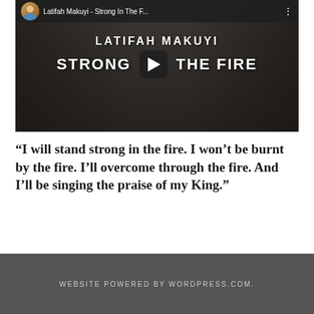[Figure (screenshot): YouTube video thumbnail for 'Latifah Makuyi - Strong In The F...' showing a band playing instruments with overlay text 'LATIFAH MAKUYI' and 'STRONG IN THE FIRE' with a play button in the center]
“I will stand strong in the fire. I won’t be burnt by the fire. I’ll overcome through the fire. And I’ll be singing the praise of my King.”
WEBSITE POWERED BY WORDPRESS.COM.